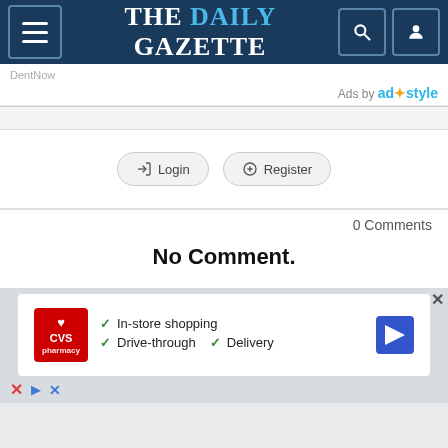THE DAILY GAZETTE
DentNow
Ads by adstyle
[Figure (screenshot): Comment login area with Login and Register buttons]
0 Comments
No Comment.
[Figure (screenshot): CVS Pharmacy advertisement showing In-store shopping, Drive-through, and Delivery options with navigation icon]